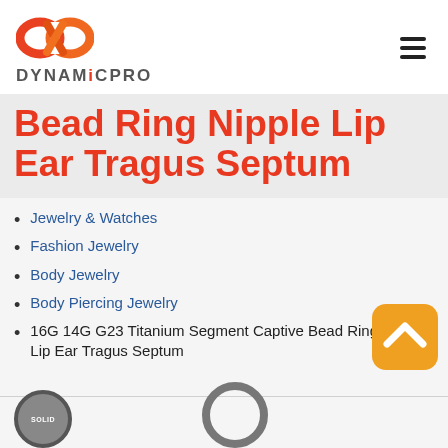[Figure (logo): DynamicPro logo with red-orange interlocking infinity symbol and gray bold text DYNAMICPRO]
Bead Ring Nipple Lip Ear Tragus Septum
Jewelry & Watches
Fashion Jewelry
Body Jewelry
Body Piercing Jewelry
16G 14G G23 Titanium Segment Captive Bead Ring Nipple Lip Ear Tragus Septum
[Figure (illustration): Orange rounded-square badge with upward chevron arrow icon (scroll to top button)]
[Figure (illustration): Bottom strip showing two partial circular badge images: a solid dark circle with SOLID text on the left and a dark ring circle on the right]